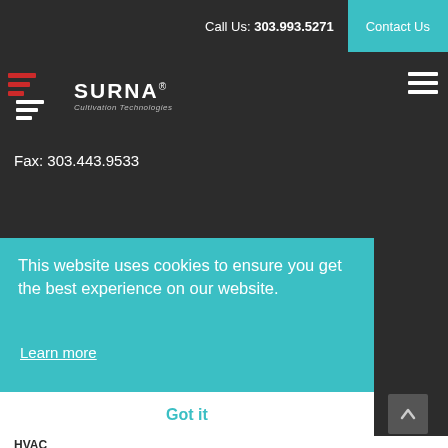Call Us: 303.993.5271 | Contact Us
[Figure (logo): Surna Cultivation Technologies logo with red and white horizontal lines icon]
Fax: 303.443.9533
This website uses cookies to ensure you get the best experience on our website.
Learn more
Got it
HVAC